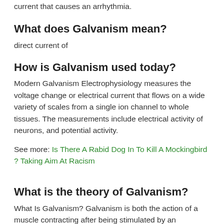current that causes an arrhythmia.
What does Galvanism mean?
direct current of
How is Galvanism used today?
Modern Galvanism Electrophysiology measures the voltage change or electrical current that flows on a wide variety of scales from a single ion channel to whole tissues. The measurements include electrical activity of neurons, and potential activity.
See more: Is There A Rabid Dog In To Kill A Mockingbird ? Taking Aim At Racism
What is the theory of Galvanism?
What Is Galvanism? Galvanism is both the action of a muscle contracting after being stimulated by an